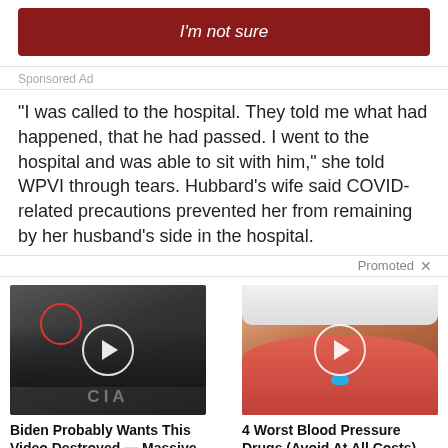[Figure (screenshot): Dark red button with italic text 'I'm not sure']
Sponsored Ad
“I was called to the hospital. They told me what had happened, that he had passed. I went to the hospital and was able to sit with him,” she told WPVI through tears. Hubbard’s wife said COVID-related precautions prevented her from remaining by her husband’s side in the hospital.
Promoted X
[Figure (photo): Thumbnail of group of men in suits at CIA-style building, with red circle highlighting one person and play button overlay]
Biden Probably Wants This Video Destroyed — Massive Currency Upheaval Has Started
120,273
[Figure (photo): Thumbnail of open mouth with tongue out holding a teal pill, play button overlay]
4 Worst Blood Pressure Drugs (Avoid At All Costs)
70,203